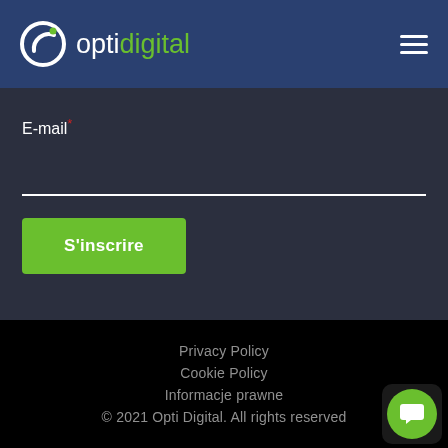optidigital
E-mail*
S'inscrire
Privacy Policy | Cookie Policy | Informacje prawne | © 2021 Opti Digital. All rights reserved